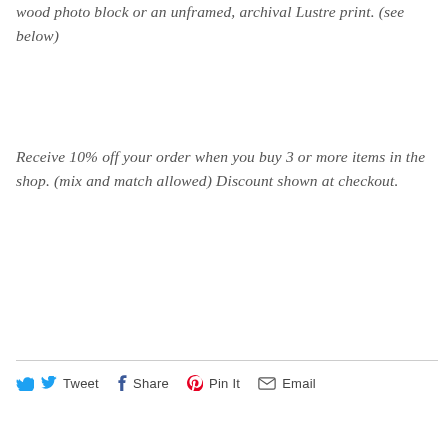wood photo block or an unframed, archival Lustre print. (see below)
Receive 10% off your order when you buy 3 or more items in the shop. (mix and match allowed) Discount shown at checkout.
Tweet  Share  Pin It  Email